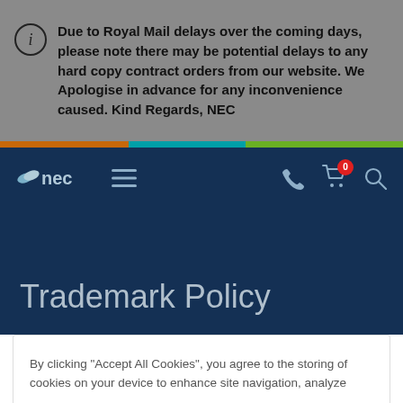Due to Royal Mail delays over the coming days, please note there may be potential delays to any hard copy contract orders from our website. We Apologise in advance for any inconvenience caused. Kind Regards, NEC
[Figure (screenshot): NEC website navigation bar with logo, hamburger menu, phone icon, cart icon with 0 badge, and search icon on dark navy background]
Trademark Policy
By clicking “Accept All Cookies”, you agree to the storing of cookies on your device to enhance site navigation, analyze